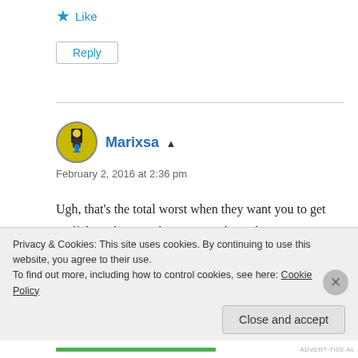★ Like
Reply
Marixsa
February 2, 2016 at 2:36 pm
Ugh, that's the total worst when they want you to get stuff done that you don't want to have done or vice versa. Such a frustrating, powerless feeling. I'm very loyal with my docs and if I find a good one I stick by him like glue 😶
Privacy & Cookies: This site uses cookies. By continuing to use this website, you agree to their use.
To find out more, including how to control cookies, see here: Cookie Policy
Close and accept